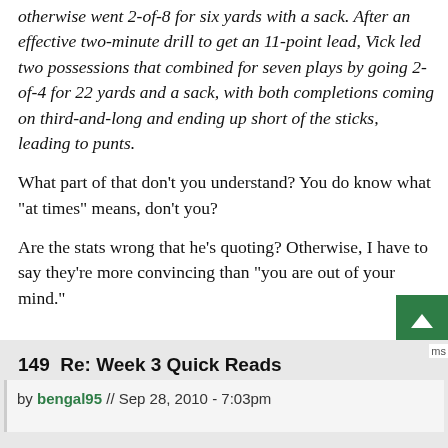otherwise went 2-of-8 for six yards with a sack. After an effective two-minute drill to get an 11-point lead, Vick led two possessions that combined for seven plays by going 2-of-4 for 22 yards and a sack, with both completions coming on third-and-long and ending up short of the sticks, leading to punts.
What part of that don't you understand? You do know what "at times" means, don't you?
Are the stats wrong that he's quoting? Otherwise, I have to say they're more convincing than "you are out of your mind."
149  Re: Week 3 Quick Reads
by bengal95 // Sep 28, 2010 - 7:03pm